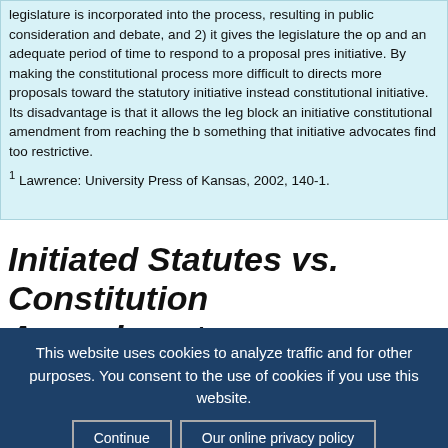legislature is incorporated into the process, resulting in public consideration and debate, and 2) it gives the legislature the op and an adequate period of time to respond to a proposal pres initiative. By making the constitutional process more difficult to directs more proposals toward the statutory initiative instead constitutional initiative. Its disadvantage is that it allows the leg block an initiative constitutional amendment from reaching the b something that initiative advocates find too restrictive.
1 Lawrence: University Press of Kansas, 2002, 140-1.
Initiated Statutes vs. Constitutional Amendments
This website uses cookies to analyze traffic and for other purposes. You consent to the use of cookies if you use this website.